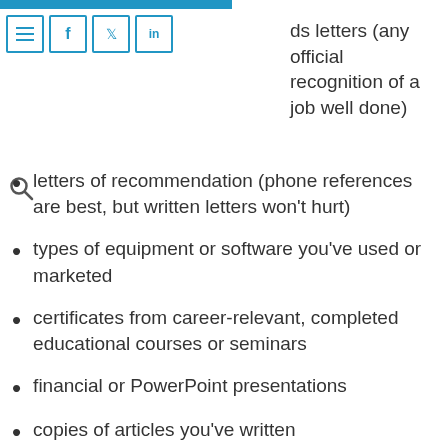awards letters (any official recognition of a job well done)
letters of recommendation (phone references are best, but written letters won't hurt)
types of equipment or software you've used or marketed
certificates from career-relevant, completed educational courses or seminars
financial or PowerPoint presentations
copies of articles you've written
brochures you've helped develop
photos of projects you've completed